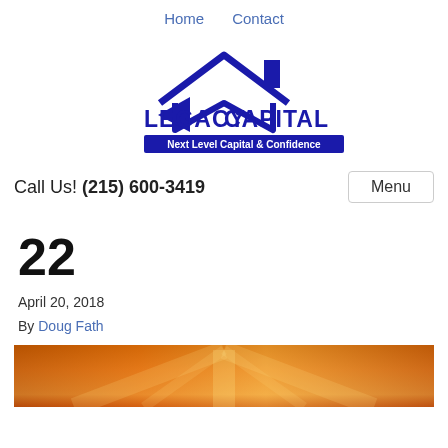Home   Contact
[Figure (logo): Legacy Capital logo with house icon and tagline 'Next Level Capital & Confidence']
Call Us! (215) 600-3419
22
April 20, 2018
By Doug Fath
[Figure (photo): Partial photo showing warm orange/golden light, bottom of page]